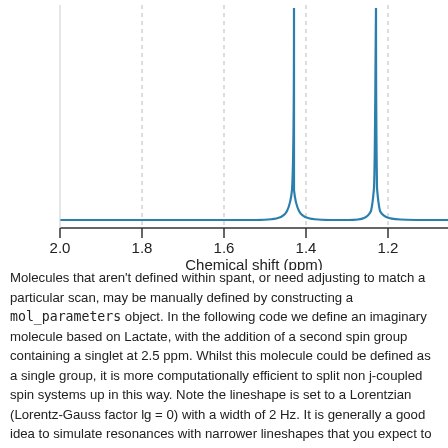[Figure (continuous-plot): NMR spectrum plot showing intensity vs chemical shift (ppm). X-axis ranges from 2.0 to ~1.1 ppm (right side cut off). Two peaks visible: a tall narrow peak near 1.4 ppm and another tall narrow peak near 1.2 ppm. Baseline is flat. Vertical dashed gridlines at 1.8, 1.6, 1.4, 1.2 ppm.]
Molecules that aren't defined within spant, or need adjusting to match a particular scan, may be manually defined by constructing a mol_parameters object. In the following code we define an imaginary molecule based on Lactate, with the addition of a second spin group containing a singlet at 2.5 ppm. Whilst this molecule could be defined as a single group, it is more computationally efficient to split non j-coupled spin systems up in this way. Note the lineshape is set to a Lorentzian (Lorentz-Gauss factor lg = 0) with a width of 2 Hz. It is generally a good idea to simulate resonances with narrower lineshapes that you expect to see in experimental data, as it is fareasier to ...